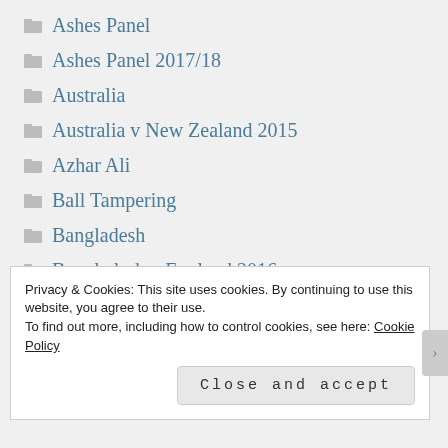Ashes Panel
Ashes Panel 2017/18
Australia
Australia v New Zealand 2015
Azhar Ali
Ball Tampering
Bangladesh
Bangladesh v England 2016
BBC TV Coverage
Privacy & Cookies: This site uses cookies. By continuing to use this website, you agree to their use.
To find out more, including how to control cookies, see here: Cookie Policy
Close and accept